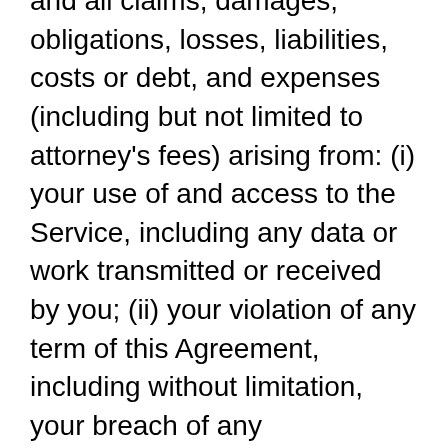and all claims, damages, obligations, losses, liabilities, costs or debt, and expenses (including but not limited to attorney's fees) arising from: (i) your use of and access to the Service, including any data or work transmitted or received by you; (ii) your violation of any term of this Agreement, including without limitation, your breach of any representations and warranties; (iii) your violation of any third-party right, including without limitation any right of privacy, publicity rights or Intellectual Property Rights; (iv) your violation of any law, rule or regulation of the United States or any other country; (v) any claim or damages that arise as a result of any of your User Submissions or any that are submitted via your account; or (vi) any other party's access and use of the Service with your unique username or password.